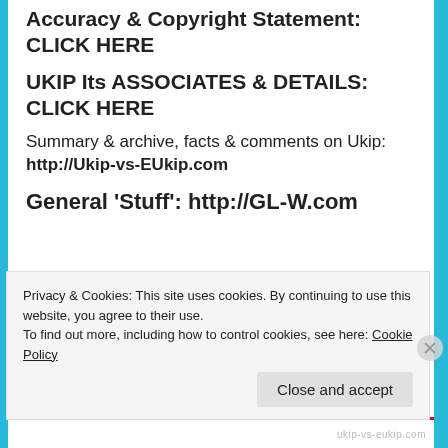Accuracy & Copyright Statement: CLICK HERE
UKIP Its ASSOCIATES & DETAILS: CLICK HERE
Summary & archive, facts & comments on Ukip: http://Ukip-vs-EUkip.com
General ‘Stuff’: http://GL-W.com
Privacy & Cookies: This site uses cookies. By continuing to use this website, you agree to their use.
To find out more, including how to control cookies, see here: Cookie Policy
Close and accept